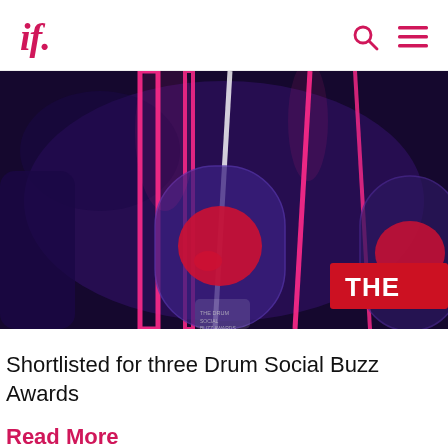if.
[Figure (photo): Awards trophies with neon pink lighting on dark purple background, showing The Drum Social Buzz Awards trophy with a red accent badge reading 'THE']
Shortlisted for three Drum Social Buzz Awards
Read More